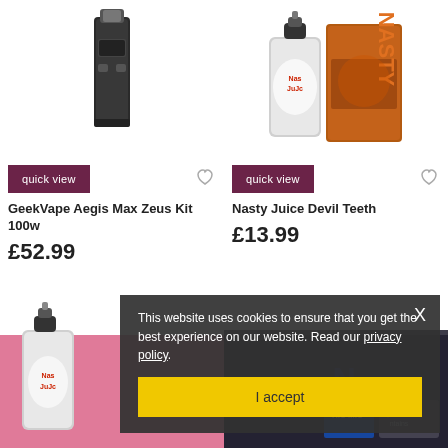[Figure (photo): Product image of GeekVape Aegis Max Zeus Kit 100w vape device (black box mod with tank)]
[Figure (photo): Product image of Nasty Juice Devil Teeth e-liquid (silver bottle and orange/brown box)]
quick view
quick view
GeekVape Aegis Max Zeus Kit 100w
£52.99
Nasty Juice Devil Teeth
£13.99
[Figure (photo): Partial product image of Nasty Juice e-liquid bottle at bottom left]
[Figure (photo): Partial product images at bottom right with dark background]
This website uses cookies to ensure that you get the best experience on our website. Read our privacy policy.
I accept